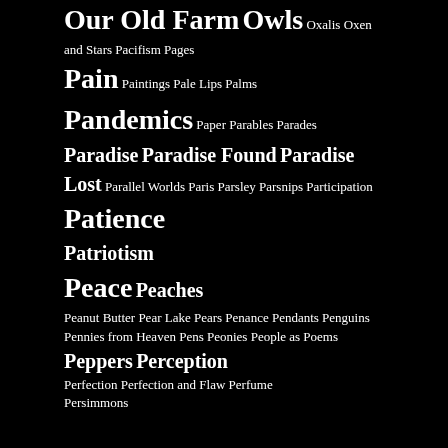Our Old Farm Owls Oxalis Oxen and Stars Pacifism Pages Pain Paintings Pale Lips Palms Pandemics Paper Parables Parades Paradise Paradise Found Paradise Lost Parallel Worlds Paris Parsley Parsnips Participation Patience Patriotism Peace Peaches Peanut Butter Pear Lake Pears Penance Pendants Penguins Pennies from Heaven Pens Peonies People as Poems Peppers Perception Perfection Perfection and Flaw Perfume Persimmons